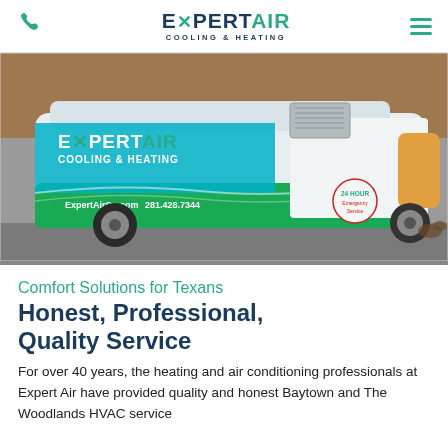Expert Air Cooling & Heating — phone icon, logo, hamburger menu
[Figure (photo): Expert Air Cooling & Heating branded service van parked in a parking lot. The van displays the company logo, website ExpertAirCo.com, phone number 281.428.7344, and 24 Hour Emergency Service badge. TACLA 00229C license visible.]
Comfort Solutions for Texans
Honest, Professional, Quality Service
For over 40 years, the heating and air conditioning professionals at Expert Air have provided quality and honest Baytown and The Woodlands HVAC service